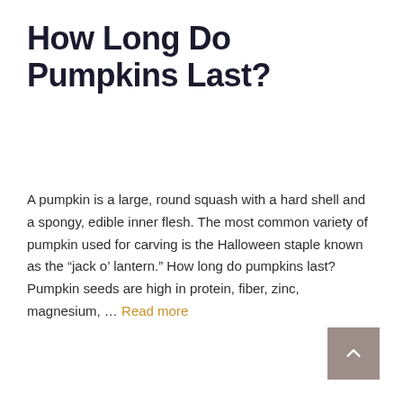How Long Do Pumpkins Last?
A pumpkin is a large, round squash with a hard shell and a spongy, edible inner flesh. The most common variety of pumpkin used for carving is the Halloween staple known as the “jack o’ lantern.” How long do pumpkins last? Pumpkin seeds are high in protein, fiber, zinc, magnesium, … Read more